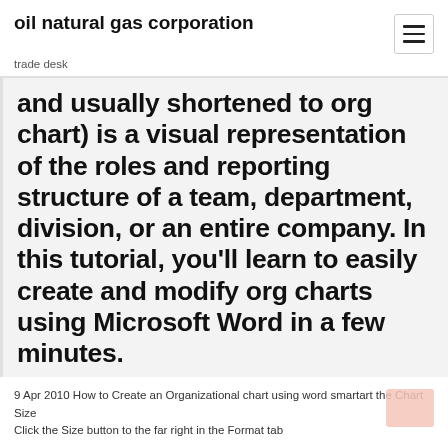oil natural gas corporation
trade desk
and usually shortened to org chart) is a visual representation of the roles and reporting structure of a team, department, division, or an entire company. In this tutorial, you’ll learn to easily create and modify org charts using Microsoft Word in a few minutes.
9 Apr 2010 How to Create an Organizational chart using word smartart the Chart Size
Click the Size button to the far right in the Format tab